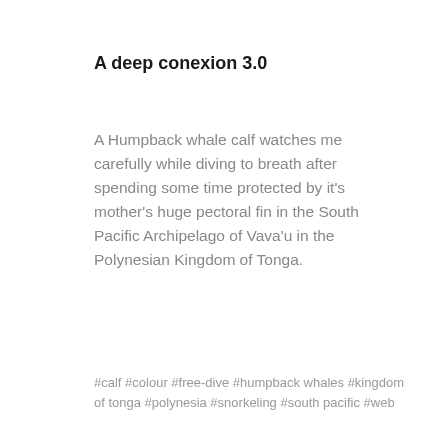A deep conexion 3.0
A Humpback whale calf watches me carefully while diving to breath after spending some time protected by it's mother's huge pectoral fin in the South Pacific Archipelago of Vava'u in the Polynesian Kingdom of Tonga.
#calf #colour #free-dive #humpback whales #kingdom of tonga #polynesia #snorkeling #south pacific #web
Album | Published 8 years ago
[Figure (photo): Underwater photo showing a diver/snorkeler beneath the water surface with sunlight filtering through, coral reef visible, teal/turquoise water]